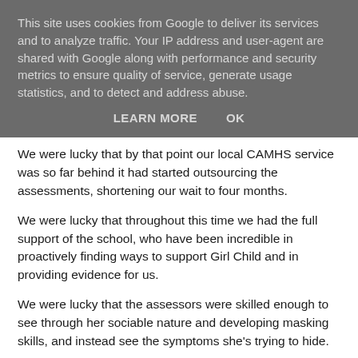This site uses cookies from Google to deliver its services and to analyze traffic. Your IP address and user-agent are shared with Google along with performance and security metrics to ensure quality of service, generate usage statistics, and to detect and address abuse.
LEARN MORE    OK
We were lucky that by that point our local CAMHS service was so far behind it had started outsourcing the assessments, shortening our wait to four months.
We were lucky that throughout this time we had the full support of the school, who have been incredible in proactively finding ways to support Girl Child and in providing evidence for us.
We were lucky that the assessors were skilled enough to see through her sociable nature and developing masking skills, and instead see the symptoms she's trying to hide.